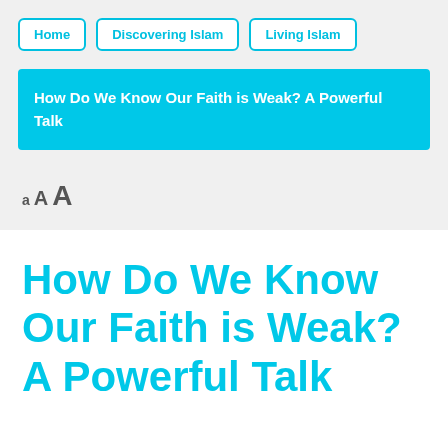Home | Discovering Islam | Living Islam
How Do We Know Our Faith is Weak? A Powerful Talk
aAA
How Do We Know Our Faith is Weak? A Powerful Talk
Discovering